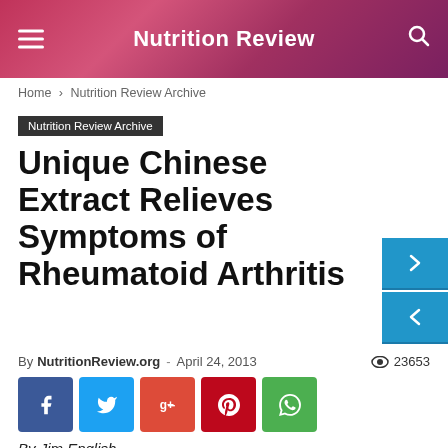Nutrition Review
Home › Nutrition Review Archive
Nutrition Review Archive
Unique Chinese Extract Relieves Symptoms of Rheumatoid Arthritis
By NutritionReview.org - April 24, 2013   23653
[Figure (infographic): Social sharing buttons: Facebook, Twitter, Google+, Pinterest, WhatsApp]
By Jim English
Rheumatoid arthritis (RA) is a chronic autoimmune disease that affects connective tissues and joints. Also known as